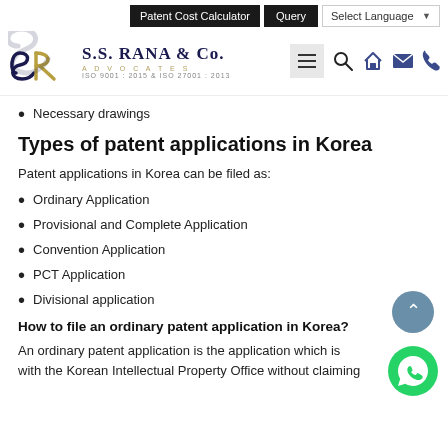Patent Cost Calculator | Query | Select Language
[Figure (logo): S.S. Rana & Co. Advocates logo with SR monogram in navy/gold, ISO 9001:2015 & ISO 27001:2013 certified]
Necessary drawings
Types of patent applications in Korea
Patent applications in Korea can be filed as:
Ordinary Application
Provisional and Complete Application
Convention Application
PCT Application
Divisional application
How to file an ordinary patent application in Korea?
An ordinary patent application is the application which is with the Korean Intellectual Property Office without claiming